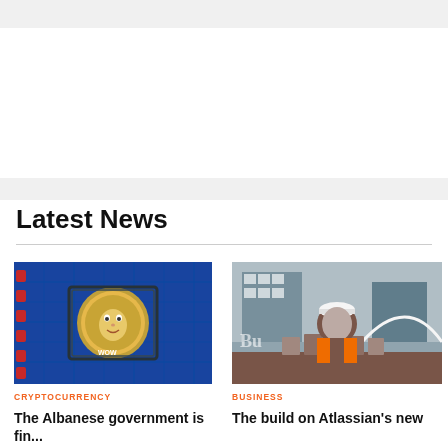Latest News
[Figure (photo): Dogecoin cryptocurrency coin on a blue computer motherboard circuit board]
CRYPTOCURRENCY
The Albanese government is
[Figure (photo): Man in hard hat and orange vest leaning over wooden building blocks/models at a construction site]
BUSINESS
The build on Atlassian's new